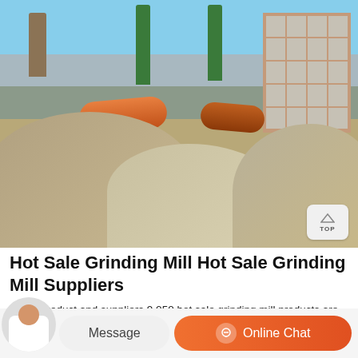[Figure (photo): Industrial grinding mill facility with orange cylindrical drums, green silos, a red brick building with grid windows, and large mounds of grey/beige material (ore or aggregate) in the foreground, under a blue sky.]
Hot Sale Grinding Mill Hot Sale Grinding Mill Suppliers
About product and suppliers 9,050 hot sale grinding mill products are offered for sale by suppliers on Alibaba.com, of which mine mill accounts for 21%, flour mill accounts for 14%, and grinding equipment accounts for 11%. A wide variety of hot sale grinding mill...